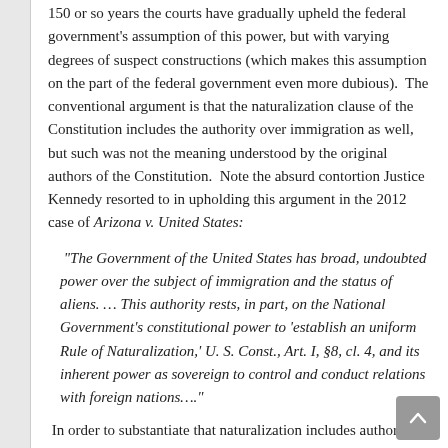150 or so years the courts have gradually upheld the federal government's assumption of this power, but with varying degrees of suspect constructions (which makes this assumption on the part of the federal government even more dubious).  The conventional argument is that the naturalization clause of the Constitution includes the authority over immigration as well, but such was not the meaning understood by the original authors of the Constitution.  Note the absurd contortion Justice Kennedy resorted to in upholding this argument in the 2012 case of Arizona v. United States:
“The Government of the United States has broad, undoubted power over the subject of immigration and the status of aliens. … This authority rests, in part, on the National Government’s constitutional power to ‘establish an uniform Rule of Naturalization,’ U. S. Const., Art. I, §8, cl. 4, and its inherent power as sovereign to control and conduct relations with foreign nations….”
In order to substantiate that naturalization includes authority over immigration, he has to fall back on the authority of the